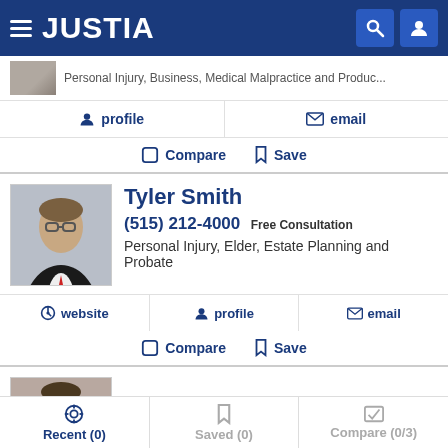JUSTIA
Personal Injury, Business, Medical Malpractice and Produc...
profile | email
Compare | Save
Tyler Smith
(515) 212-4000 Free Consultation
Personal Injury, Elder, Estate Planning and Probate
website | profile | email
Compare | Save
Dustin Gomez
Recent (0) | Saved (0) | Compare (0/3)